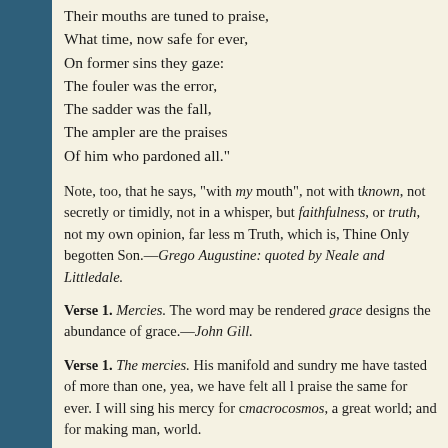Their mouths are tuned to praise,
What time, now safe for ever,
On former sins they gaze:
The fouler was the error,
The sadder was the fall,
The ampler are the praises
Of him who pardoned all."
Note, too, that he says, "with my mouth", not with t known, not secretly or timidly, not in a whisper, but faithfulness, or truth, not my own opinion, far less m Truth, which is, Thine Only begotten Son.—Grego Augustine: quoted by Neale and Littledale.
Verse 1. Mercies. The word may be rendered grace designs the abundance of grace.—John Gill.
Verse 1. The mercies. His manifold and sundry me have tasted of more than one, yea, we have felt all l praise the same for ever. I will sing his mercy for c macrocosmos, a great world; and for making man, world.